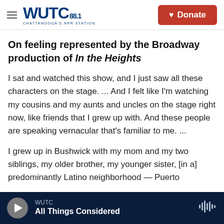WUTC 88.1 Chattanooga's NPR Station | Donate
On feeling represented by the Broadway production of In the Heights
I sat and watched this show, and I just saw all these characters on the stage. ... And I felt like I'm watching my cousins and my aunts and uncles on the stage right now, like friends that I grew up with. And these people are speaking vernacular that's familiar to me. ...
I grew up in Bushwick with my mom and my two siblings, my older brother, my younger sister, [in a] predominantly Latino neighborhood — Puerto
WUTC | All Things Considered